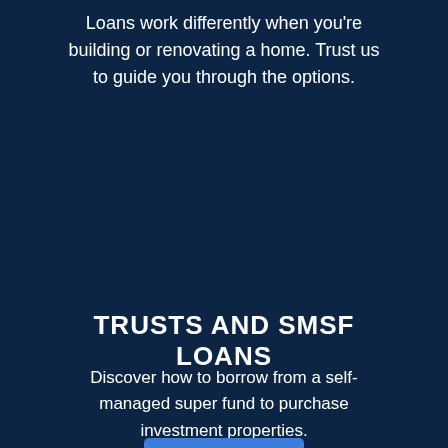Loans work differently when you're building or renovating a home. Trust us to guide you through the options.
TRUSTS AND SMSF LOANS
Discover how to borrow from a self-managed super fund to purchase investment properties.